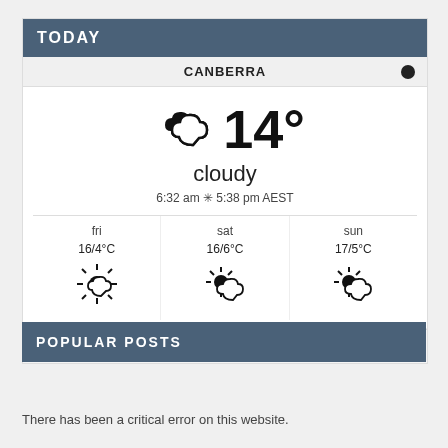TODAY
CANBERRA
[Figure (infographic): Weather widget showing cloudy icon and 14° temperature, condition 'cloudy', sunrise 6:32 am sunset 5:38 pm AEST, 3-day forecast: fri 16/4°C partly sunny, sat 16/6°C partly cloudy, sun 17/5°C partly cloudy]
Weather forecast Canberra, Australia ▶
POPULAR POSTS
There has been a critical error on this website.